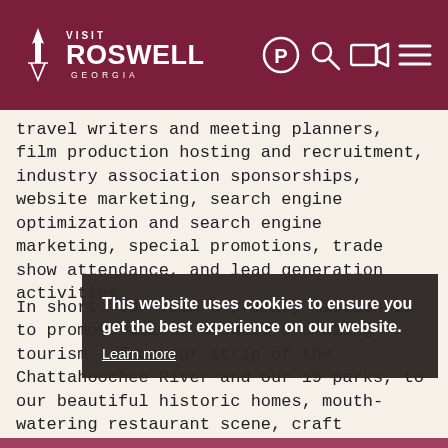VISIT ROSWELL GEORGIA
travel writers and meeting planners, film production hosting and recruitment, industry association sponsorships, website marketing, search engine optimization and search engine marketing, special promotions, trade show attendance, and lead generation activities.
In short, our team's primary mission is to promote all of Roswell's amazing tourism – from our strip of the Chattahoochee River and our 19 parks, to our beautiful historic homes, mouth-watering restaurant scene, craft breweries and 1,200+ hotel rooms. We want tourists to experience what we get
This website uses cookies to ensure you get the best experience on our website.
Learn more
Got it!